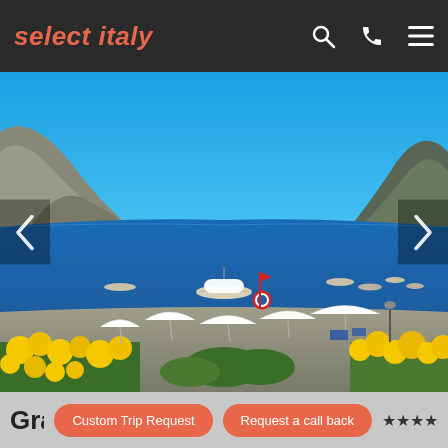select italy
[Figure (photo): Coastal Italian beach scene with white umbrellas on a pebbly beach, small boats in a calm blue bay, rocky cliffs on both sides, yellow flowers in the foreground, and clear blue sky.]
Custom Trip Request
Request a call back
Grand Hotel Mazzaro Sea Palace ★★★★